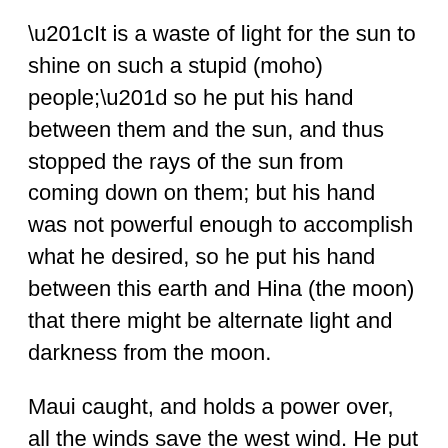“It is a waste of light for the sun to shine on such a stupid (moho) people;” so he put his hand between them and the sun, and thus stopped the rays of the sun from coming down on them; but his hand was not powerful enough to accomplish what he desired, so he put his hand between this earth and Hina (the moon) that there might be alternate light and darkness from the moon.
Maui caught, and holds a power over, all the winds save the west wind. He put each wind into a cave, so that it might not blow. He sought in vain for the west wind, but could not find from whence it came. If he had found the cave in which it stayed he would have closed the entrance to that cave with rocks. When the west wind